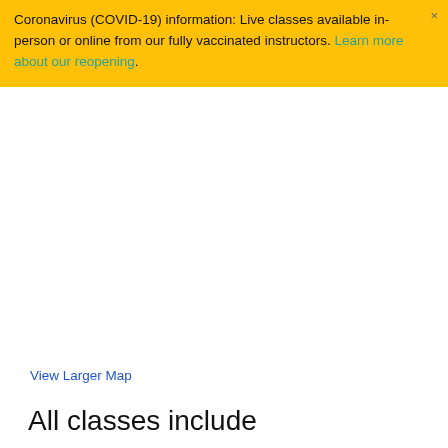Coronavirus (COVID-19) information: Live classes available in-person or online from our fully vaccinated instructors. Learn more about our reopening.
[Figure (map): Embedded Google Map (white/blank area shown as map placeholder)]
View Larger Map
All classes include